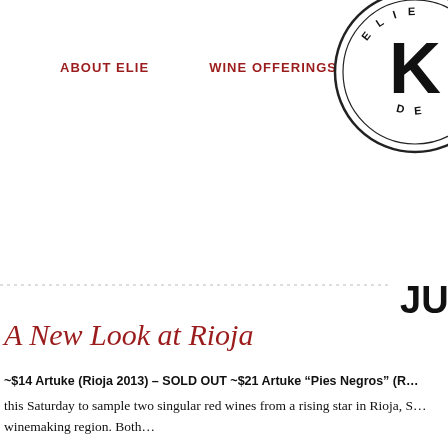ABOUT ELIE    WINE OFFERINGS
[Figure (logo): Circular logo with letter K in bold black, text around the circle reads ELIE at top and DE at bottom, partially cropped on the right edge]
[Figure (other): Horizontal dashed separator line with JU text visible on the right]
A New Look at Rioja
~$14 Artuke (Rioja 2013) – SOLD OUT ~$21 Artuke "Pies Negros" (R…
this Saturday to sample two singular red wines from a rising star in Rioja, S… winemaking region. Both…